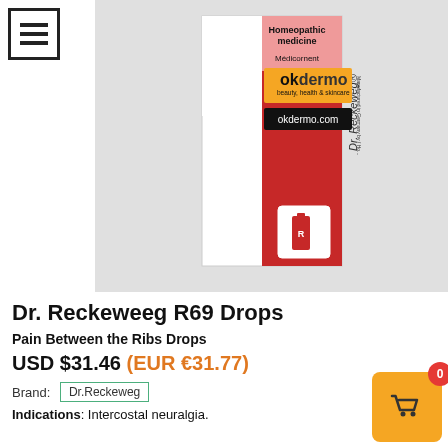[Figure (photo): Dr. Reckeweweg homeopathic medicine product bottle/drops packaging with red and white label, overlaid with okdermo.com beauty health & skincare logo badge]
Dr. Reckeweweg R69 Drops
Pain Between the Ribs Drops
USD $31.46 (EUR €31.77)
Brand: Dr.Reckeweg
Indications: Intercostal neuralgia.